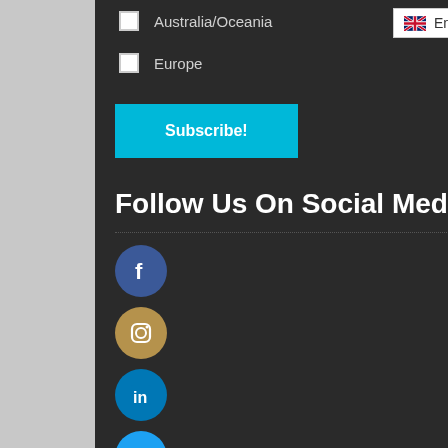Australia/Oceania
Europe
Subscribe!
Follow Us On Social Media
[Figure (other): Social media icons: Facebook, Instagram, LinkedIn, Twitter, YouTube]
English (language dropdown)